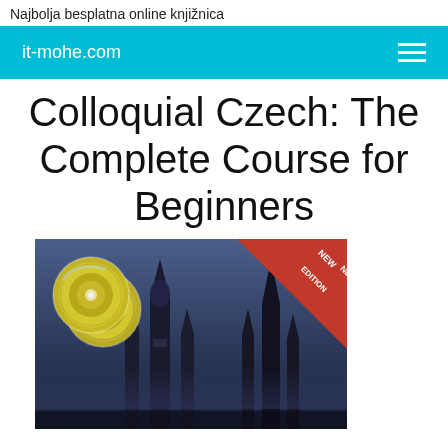Najbolja besplatna online knjižnica
it-mohe.com
Colloquial Czech: The Complete Course for Beginners
[Figure (photo): Book cover of 'Colloquial Czech: The Complete Course for Beginners' showing a dark cityscape with Gothic church spires, two gold CDs in the upper left, and a red 'NEW EDITION' banner in the upper right corner.]